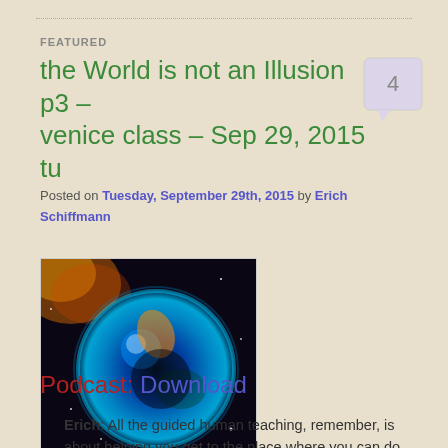FEATURED
the World is not an Illusion p3 – venice class – Sep 29, 2015 tu
Posted on Tuesday, September 29th, 2015 by Erich Schiffmann
[Figure (photo): Space nebula image showing a glowing blue-green spherical nebula with colorful gas clouds against a dark background]
Podcast: Download
Erich: All the guided human teaching, remember, is about helping you get to the place where you can do